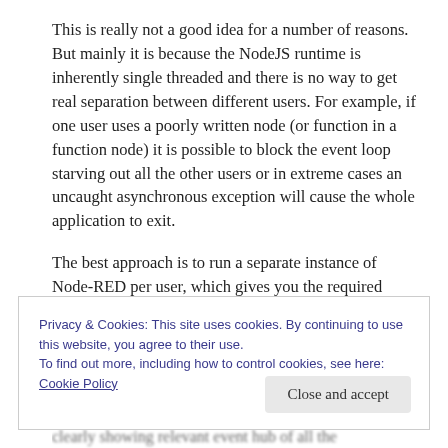This is really not a good idea for a number of reasons. But mainly it is because the NodeJS runtime is inherently single threaded and there is no way to get real separation between different users. For example, if one user uses a poorly written node (or function in a function node) it is possible to block the event loop starving out all the other users or in extreme cases an uncaught asynchronous exception will cause the whole application to exit.
The best approach is to run a separate instance of Node-RED per user, which gives you the required
Privacy & Cookies: This site uses cookies. By continuing to use this website, you agree to their use.
To find out more, including how to control cookies, see here: Cookie Policy
Close and accept